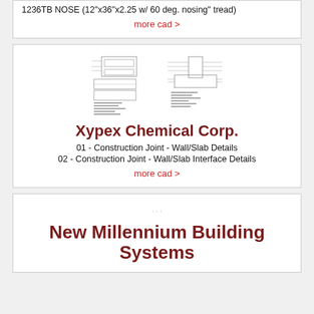1236TB NOSE (12"x36"x2.25 w/ 60 deg. nosing" tread)
more cad >
[Figure (schematic): Two CAD technical drawing thumbnails showing construction joint details]
Xypex Chemical Corp.
01 - Construction Joint - Wall/Slab Details
02 - Construction Joint - Wall/Slab Interface Details
more cad >
New Millennium Building Systems